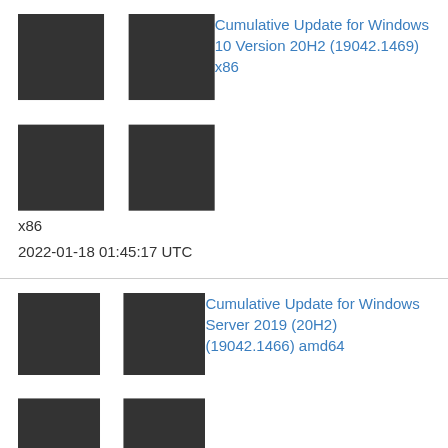Cumulative Update for Windows 10 Version 20H2 (19042.1469) x86
x86
2022-01-18 01:45:17 UTC
Cumulative Update for Windows Server 2019 (20H2) (19042.1466) amd64
x64
2022-01-11 20:37:07 UTC
Feature update to Windows 10, version 20H2 (19042.1466) amd64
x64
2022-01-11 20:37:57 UTC
Cumulative Update for Windows Server 2019 (20H2) (19042.1466) arm64
arm64